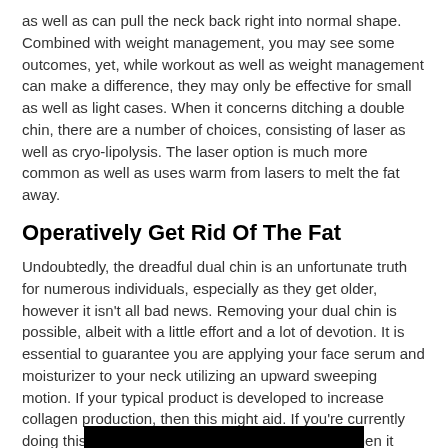as well as can pull the neck back right into normal shape. Combined with weight management, you may see some outcomes, yet, while workout as well as weight management can make a difference, they may only be effective for small as well as light cases. When it concerns ditching a double chin, there are a number of choices, consisting of laser as well as cryo-lipolysis. The laser option is much more common as well as uses warm from lasers to melt the fat away.
Operatively Get Rid Of The Fat
Undoubtedly, the dreadful dual chin is an unfortunate truth for numerous individuals, especially as they get older, however it isn't all bad news. Removing your dual chin is possible, albeit with a little effort and a lot of devotion. It is essential to guarantee you are applying your face serum and moisturizer to your neck utilizing an upward sweeping motion. If your typical product is developed to increase collagen production, then this might aid. If you're currently doing this and also your double chin isn't moving, then it deserves including some products into your regimen that zero in on this details location.
[Figure (other): Black bar/banner at bottom of page]